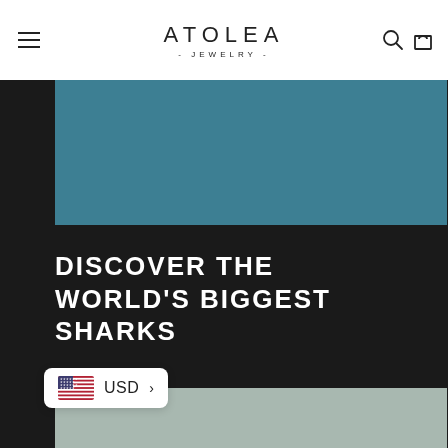ATOLEA JEWELRY — navigation header with hamburger menu, logo, search and cart icons
[Figure (photo): Teal/blue-green colored image placeholder at top of content area]
DISCOVER THE WORLD'S BIGGEST SHARKS
[Figure (photo): Sage/muted green colored image placeholder below title]
USD >